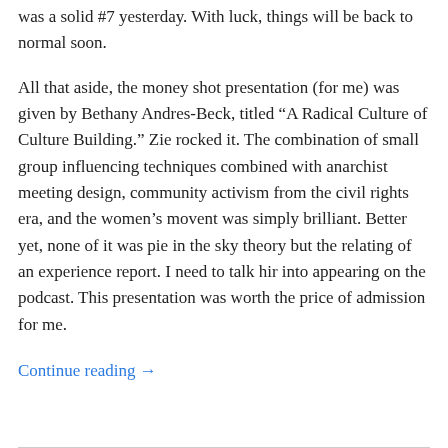was a solid #7 yesterday. With luck, things will be back to normal soon.
All that aside, the money shot presentation (for me) was given by Bethany Andres-Beck, titled “A Radical Culture of Culture Building.” Zie rocked it. The combination of small group influencing techniques combined with anarchist meeting design, community activism from the civil rights era, and the women’s movent was simply brilliant. Better yet, none of it was pie in the sky theory but the relating of an experience report. I need to talk hir into appearing on the podcast. This presentation was worth the price of admission for me.
Continue reading →